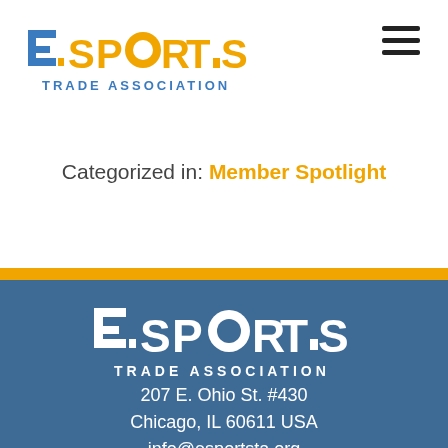[Figure (logo): Esports Trade Association logo in header, with teal E and gold SPORTS TRADE ASSOCIATION text]
[Figure (other): Hamburger menu icon (three horizontal lines) in top right corner]
Categorized in: Member Spotlight
[Figure (logo): Esports Trade Association white logo on blue background in footer]
207 E. Ohio St. #430
Chicago, IL 60611 USA
info@esportsta.org